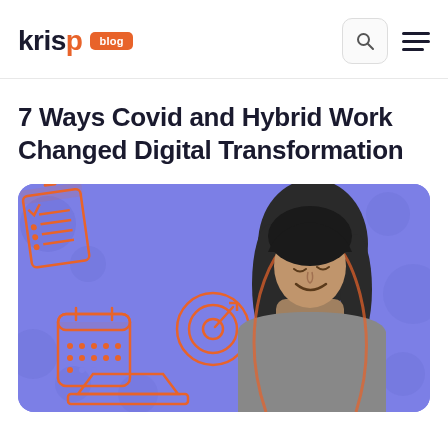krisp blog
7 Ways Covid and Hybrid Work Changed Digital Transformation
[Figure (illustration): Hero illustration on purple/periwinkle background: a smiling young woman with long dark hair looking down at a laptop (shown in grayscale cutout style). Around her are orange-outlined icons: a checklist clipboard, a calendar, a target/bullseye with arrow, and a partial laptop at the bottom. Background has subtle darker purple circle/bubble patterns.]